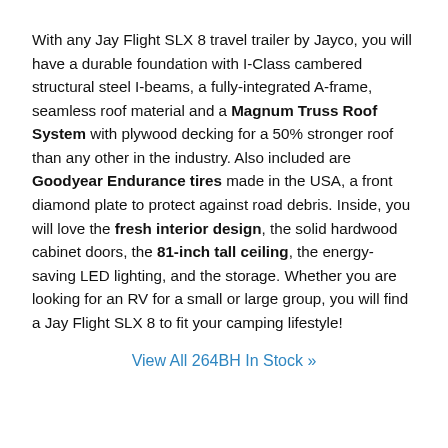With any Jay Flight SLX 8 travel trailer by Jayco, you will have a durable foundation with I-Class cambered structural steel I-beams, a fully-integrated A-frame, seamless roof material and a Magnum Truss Roof System with plywood decking for a 50% stronger roof than any other in the industry. Also included are Goodyear Endurance tires made in the USA, a front diamond plate to protect against road debris. Inside, you will love the fresh interior design, the solid hardwood cabinet doors, the 81-inch tall ceiling, the energy-saving LED lighting, and the storage. Whether you are looking for an RV for a small or large group, you will find a Jay Flight SLX 8 to fit your camping lifestyle!
View All 264BH In Stock »